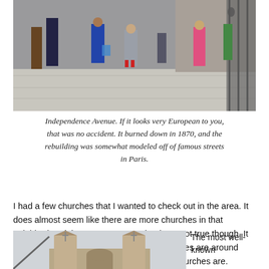[Figure (photo): People walking along Independence Avenue, a busy pedestrian street with European-style architecture. Shoppers with bags visible, ornate iron gate on the right.]
Independence Avenue. If it looks very European to you, that was no accident. It burned down in 1870, and the rebuilding was somewhat modeled off of famous streets in Paris.
I had a few churches that I wanted to check out in the area. It does almost seem like there are more churches in that neighborhood than mosques. Maybe that’s not true though. It could be that just none of the famous mosques are around there, and that’s basically where all of the churches are.
[Figure (photo): A church with two stone towers and a cross, photographed from a low angle against an overcast sky.]
The most well-known